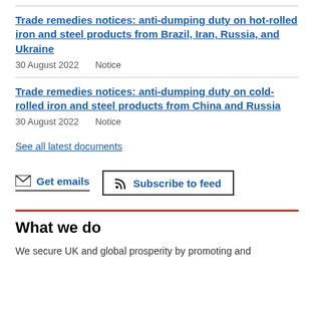Trade remedies notices: anti-dumping duty on hot-rolled iron and steel products from Brazil, Iran, Russia, and Ukraine
30 August 2022    Notice
Trade remedies notices: anti-dumping duty on cold-rolled iron and steel products from China and Russia
30 August 2022    Notice
See all latest documents
Get emails
Subscribe to feed
What we do
We secure UK and global prosperity by promoting and